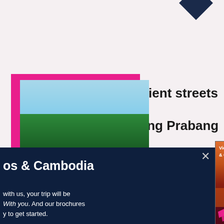[Figure (photo): Travel photo of palm trees and blue sky, framed with pink/magenta border]
Ancient streets of Luang Prabang
os & Cambodia
with us, your trip will be With you. And our brochures y to get started.
d your copy
[Figure (photo): Inside Asia brochure cover for Vietnam, Laos & Cambodia showing orange sunset over water]
en
me
rs,
as
fused those traditions
together to create